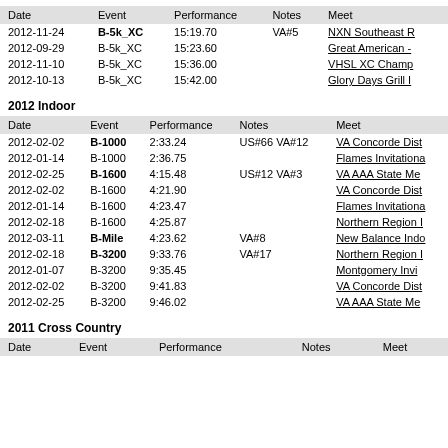| Date | Event | Performance | Notes | Meet |
| --- | --- | --- | --- | --- |
| 2012-11-24 | B-5k_XC | 15:19.70 | VA#5 | NXN Southeast R |
| 2012-09-29 | B-5k_XC | 15:23.60 |  | Great American - |
| 2012-11-10 | B-5k_XC | 15:36.00 |  | VHSL XC Champ |
| 2012-10-13 | B-5k_XC | 15:42.00 |  | Glory Days Grill I |
2012 Indoor
| Date | Event | Performance | Notes | Meet |
| --- | --- | --- | --- | --- |
| 2012-02-02 | B-1000 | 2:33.24 | US#66 VA#12 | VA Concorde Dist |
| 2012-01-14 | B-1000 | 2:36.75 |  | Flames Invitationa |
| 2012-02-25 | B-1600 | 4:15.48 | US#12 VA#3 | VA AAA State Me |
| 2012-02-02 | B-1600 | 4:21.90 |  | VA Concorde Dist |
| 2012-01-14 | B-1600 | 4:23.47 |  | Flames Invitationa |
| 2012-02-18 | B-1600 | 4:25.87 |  | Northern Region I |
| 2012-03-11 | B-Mile | 4:23.62 | VA#8 | New Balance Indo |
| 2012-02-18 | B-3200 | 9:33.76 | VA#17 | Northern Region I |
| 2012-01-07 | B-3200 | 9:35.45 |  | Montgomery Invi |
| 2012-02-02 | B-3200 | 9:41.83 |  | VA Concorde Dist |
| 2012-02-25 | B-3200 | 9:46.02 |  | VA AAA State Me |
2011 Cross Country
| Date | Event | Performance | Notes | Meet |
| --- | --- | --- | --- | --- |